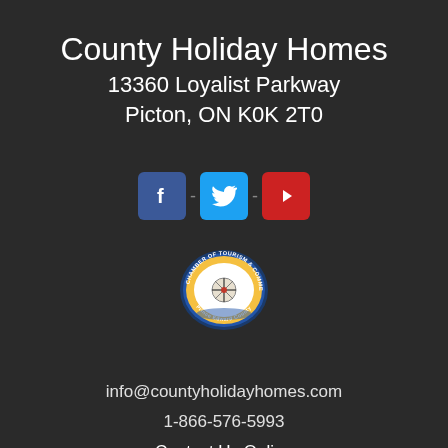County Holiday Homes
13360 Loyalist Parkway
Picton, ON K0K 2T0
[Figure (infographic): Social media icons: Facebook (blue), Twitter (light blue), YouTube (red), separated by dashes]
[Figure (logo): Chamber of Tourism & Commerce - Prince Edward County circular badge/logo]
info@countyholidayhomes.com
1-866-576-5993
Contact Us Online